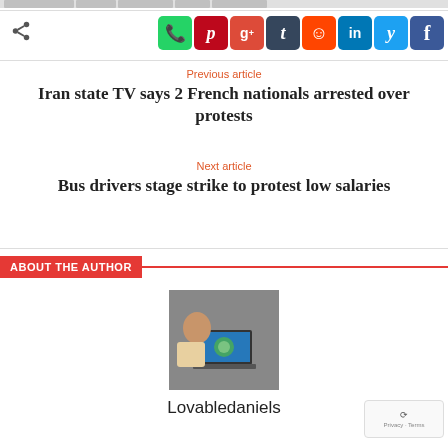[Figure (screenshot): Social media share buttons row: WhatsApp, Pinterest, Google+, Tumblr, Reddit, LinkedIn, Twitter, Facebook]
Previous article
Iran state TV says 2 French nationals arrested over protests
Next article
Bus drivers stage strike to protest low salaries
ABOUT THE AUTHOR
[Figure (photo): Author photo showing a man with a laptop]
Lovabledaniels